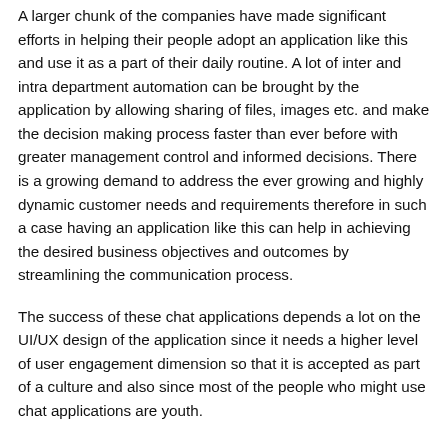A larger chunk of the companies have made significant efforts in helping their people adopt an application like this and use it as a part of their daily routine. A lot of inter and intra department automation can be brought by the application by allowing sharing of files, images etc. and make the decision making process faster than ever before with greater management control and informed decisions. There is a growing demand to address the ever growing and highly dynamic customer needs and requirements therefore in such a case having an application like this can help in achieving the desired business objectives and outcomes by streamlining the communication process.
The success of these chat applications depends a lot on the UI/UX design of the application since it needs a higher level of user engagement dimension so that it is accepted as part of a culture and also since most of the people who might use chat applications are youth.